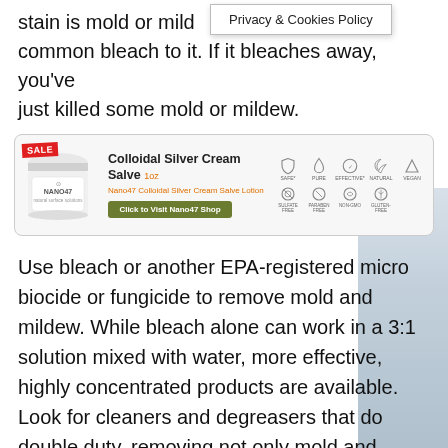stain is mold or mildew, apply common bleach to it. If it bleaches away, you've just killed some mold or mildew.
Privacy & Cookies Policy
[Figure (infographic): Advertisement for Nano47 Colloidal Silver Cream Salve 1oz. Shows a product jar with SALE badge, product name, subtitle 'Nano47 Colloidal Silver Cream Salve Lotion', a green button 'Click to Visit Nano47 Shop', and icons for SAFE, PURE, EFFECTIVE, NATURAL, VEGAN, SULFATE FREE, PARABEN FREE, NON-GMO, GLUTEN-FREE.]
Use bleach or another EPA-registered micro biocide or fungicide to remove mold and mildew. While bleach alone can work in a 3:1 solution mixed with water, more effective, highly concentrated products are available. Look for cleaners and degreasers that do double duty, removing not only mold and mildew but also grime, grease, and oil.